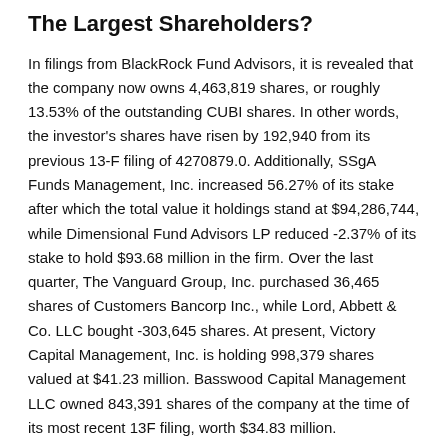The Largest Shareholders?
In filings from BlackRock Fund Advisors, it is revealed that the company now owns 4,463,819 shares, or roughly 13.53% of the outstanding CUBI shares. In other words, the investor's shares have risen by 192,940 from its previous 13-F filing of 4270879.0. Additionally, SSgA Funds Management, Inc. increased 56.27% of its stake after which the total value it holdings stand at $94,286,744, while Dimensional Fund Advisors LP reduced -2.37% of its stake to hold $93.68 million in the firm. Over the last quarter, The Vanguard Group, Inc. purchased 36,465 shares of Customers Bancorp Inc., while Lord, Abbett & Co. LLC bought -303,645 shares. At present, Victory Capital Management, Inc. is holding 998,379 shares valued at $41.23 million. Basswood Capital Management LLC owned 843,391 shares of the company at the time of its most recent 13F filing, worth $34.83 million.